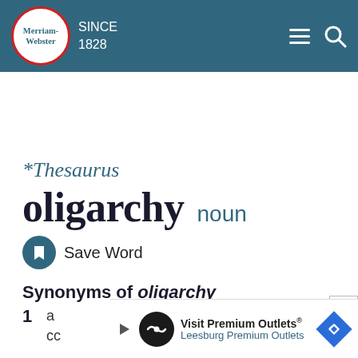Merriam-Webster SINCE 1828
Thesaurus
oligarchy noun
Save Word
Synonyms of oligarchy
1 a cc
[Figure (other): Advertisement banner for Visit Premium Outlets - Leesburg Premium Outlets]